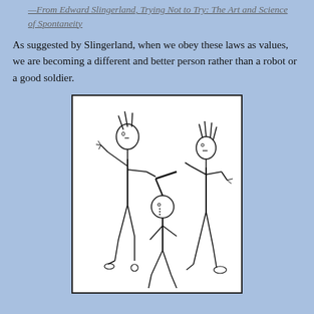—From Edward Slingerland, Trying Not to Try: The Art and Science of Spontaneity
As suggested by Slingerland, when we obey these laws as values, we are becoming a different and better person rather than a robot or a good soldier.
[Figure (illustration): A child's-style line drawing of three stick-like figures: a tall figure on the left with spiky hair and raised arms, a smaller child figure in the center holding a stick or weapon, and another tall figure on the right with spiky hair and raised arms.]